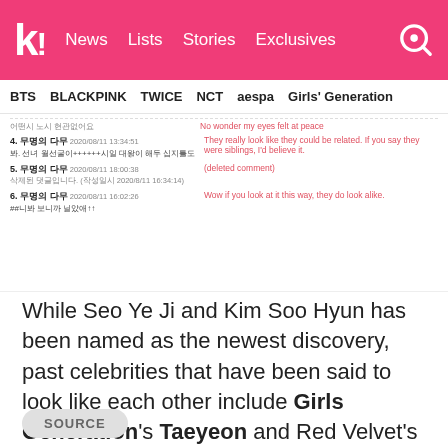k! News Lists Stories Exclusives [search]
BTS  BLACKPINK  TWICE  NCT  aespa  Girls' Generation
[Figure (screenshot): Screenshot of Korean internet comments with English translations in red/pink text. Comments discuss Seo Ye Ji and Kim Soo Hyun looking alike. Comment 4: 'They really look like they could be related. If you say they were siblings, I'd believe it.' Comment 5: (deleted comment). Comment 6: 'Wow if you look at it this way, they do look alike.']
While Seo Ye Ji and Kim Soo Hyun has been named as the newest discovery, past celebrities that have been said to look like each other include Girls Generation's Taeyeon and Red Velvet's Irene, H.O.T's Kangta and SUPER JUNIOR's Siwon. What other celebrity lookalikes can you think of?
SOURCE